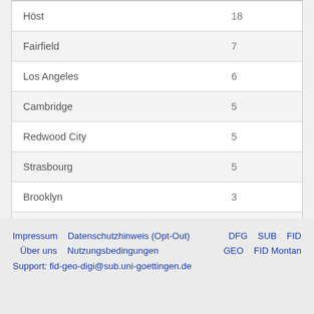| Höst | 18 |
| Fairfield | 7 |
| Los Angeles | 6 |
| Cambridge | 5 |
| Redwood City | 5 |
| Strasbourg | 5 |
| Brooklyn | 3 |
| Dublin | 3 |
Impressum   Datenschutzhinweis (Opt-Out)   Über uns   Nutzungsbedingungen   Support: fid-geo-digi@sub.uni-goettingen.de   DFG   SUB   FID GEO   FID Montan